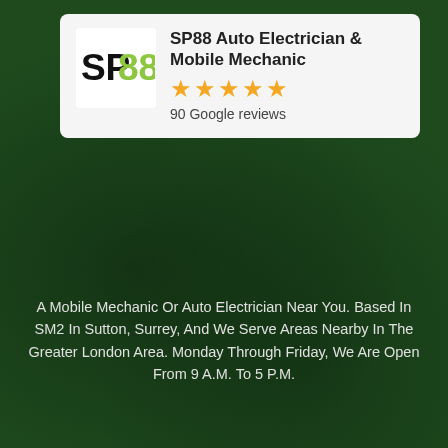[Figure (logo): SP88 Auto Electrician & Mobile Mechanic logo — white background with bold black 'SP' and green '88' text]
SP88 Auto Electrician & Mobile Mechanic
★★★★★ 90 Google reviews
A Mobile Mechanic Or Auto Electrician Near You. Based In SM2 In Sutton, Surrey, And We Serve Areas Nearby In The Greater London Area. Monday Through Friday, We Are Open From 9 A.M. To 5 P.M.
LEAVE GOOGLE REVIEWS HERE PLEASE.
TOP SERVICES
[Figure (logo): WhatsApp widget with green circular WhatsApp icon and white bubble showing 'WhatsApp' text]
Mobile Mechanic